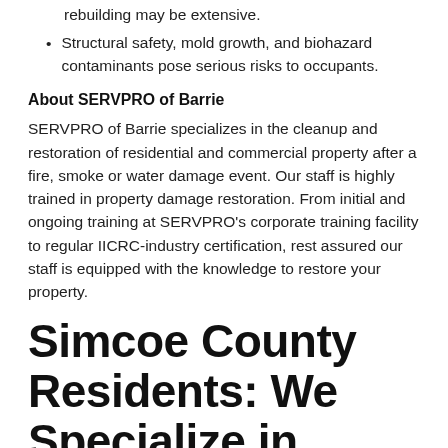rebuilding may be extensive.
Structural safety, mold growth, and biohazard contaminants pose serious risks to occupants.
About SERVPRO of Barrie
SERVPRO of Barrie specializes in the cleanup and restoration of residential and commercial property after a fire, smoke or water damage event. Our staff is highly trained in property damage restoration. From initial and ongoing training at SERVPRO’s corporate training facility to regular IICRC-industry certification, rest assured our staff is equipped with the knowledge to restore your property.
Simcoe County Residents: We Specialize in Flooded Basement Cleanup and Restoration!